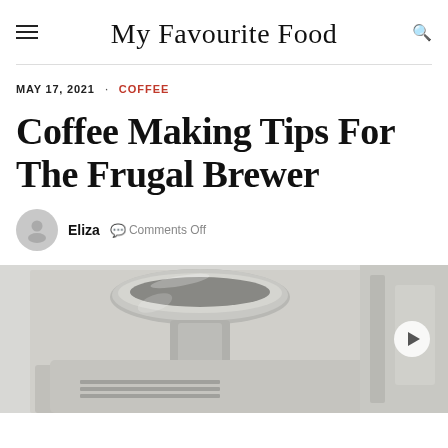My Favourite Food
MAY 17, 2021 · COFFEE
Coffee Making Tips For The Frugal Brewer
Eliza  ❐Comments Off
[Figure (photo): A coffee machine with a stainless steel portafilter/grinder hopper visible, on a white background. A partially visible tall object on the right side.]